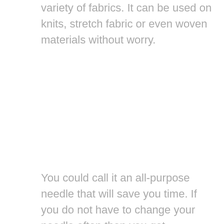variety of fabrics. It can be used on knits, stretch fabric or even woven materials without worry.
You could call it an all-purpose needle that will save you time. If you do not have to change your needle often then you get